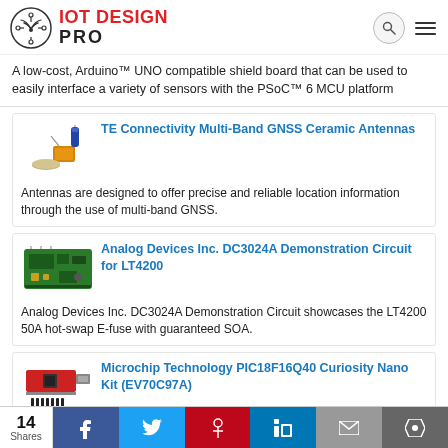IOT DESIGN PRO
A low-cost, Arduino™ UNO compatible shield board that can be used to easily interface a variety of sensors with the PSoC™ 6 MCU platform
[Figure (photo): TE Connectivity Multi-Band GNSS ceramic antenna components photo]
TE Connectivity Multi-Band GNSS Ceramic Antennas
Antennas are designed to offer precise and reliable location information through the use of multi-band GNSS.
[Figure (photo): Analog Devices Inc. DC3024A Demonstration Circuit for LT4200 board photo]
Analog Devices Inc. DC3024A Demonstration Circuit for LT4200
Analog Devices Inc. DC3024A Demonstration Circuit showcases the LT4200 50A hot-swap E-fuse with guaranteed SOA.
[Figure (photo): Microchip Technology PIC18F16Q40 Curiosity Nano Kit board photo]
Microchip Technology PIC18F16Q40 Curiosity Nano Kit (EV70C97A)
PIC18F16Q40 Curiosity Nano Kit is a compact hardware
14 Shares | Facebook | Twitter | Pinterest | LinkedIn | Email | Kinja